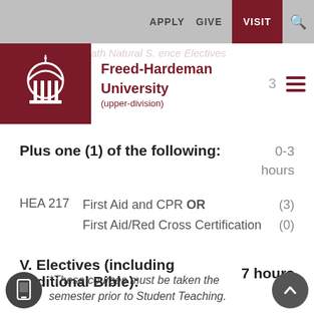APPLY   GIVE   VISIT   🔍
Freed-Hardeman University
(upper-division)
Plus one (1) of the following:
0-3 hours
HEA 217   First Aid and CPR OR First Aid/Red Cross Certification   (3)  (0)
V. Electives (including additional Bible):   7 hours
*These courses must be taken the semester prior to Student Teaching.